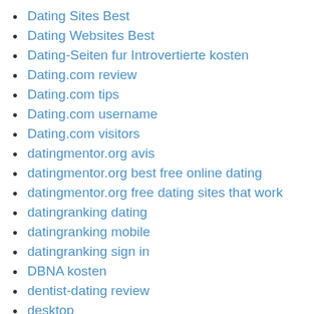Dating Sites Best
Dating Websites Best
Dating-Seiten fur Introvertierte kosten
Dating.com review
Dating.com tips
Dating.com username
Dating.com visitors
datingmentor.org avis
datingmentor.org best free online dating
datingmentor.org free dating sites that work
datingranking dating
datingranking mobile
datingranking sign in
DBNA kosten
dentist-dating review
desktop